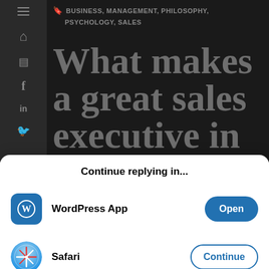[Figure (screenshot): Dark-themed blog/website screenshot showing category tags (BUSINESS, MANAGEMENT, PHILOSOPHY, PSYCHOLOGY, SALES) and a large heading 'What makes a great sales executive in' with a left sidebar showing navigation icons (hamburger menu, home, document, facebook, linkedin, twitter)]
Continue replying in...
WordPress App — Open
Safari — Continue